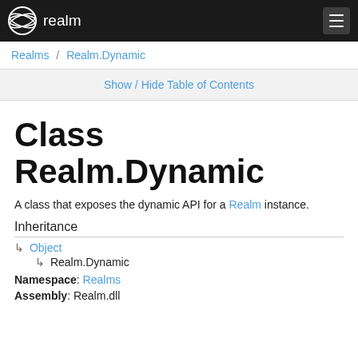realm
Realms / Realm.Dynamic
Show / Hide Table of Contents
Class Realm.Dynamic
A class that exposes the dynamic API for a Realm instance.
Inheritance
↳ Object
↳ Realm.Dynamic
Namespace: Realms
Assembly: Realm.dll